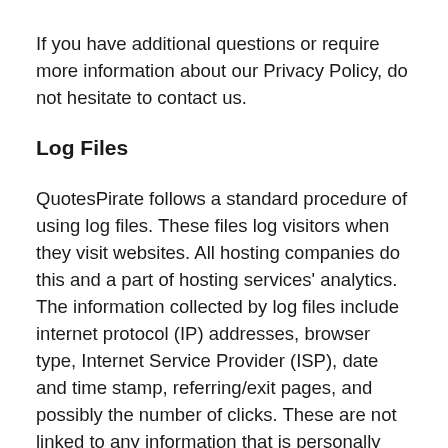If you have additional questions or require more information about our Privacy Policy, do not hesitate to contact us.
Log Files
QuotesPirate follows a standard procedure of using log files. These files log visitors when they visit websites. All hosting companies do this and a part of hosting services' analytics. The information collected by log files include internet protocol (IP) addresses, browser type, Internet Service Provider (ISP), date and time stamp, referring/exit pages, and possibly the number of clicks. These are not linked to any information that is personally identifiable. The purpose of the information